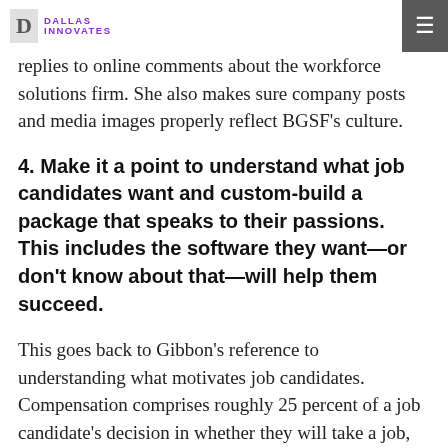DALLAS INNOVATES
replies to online comments about the workforce solutions firm. She also makes sure company posts and media images properly reflect BGSF's culture.
4. Make it a point to understand what job candidates want and custom-build a package that speaks to their passions. This includes the software they want—or don't know about that—will help them succeed.
This goes back to Gibbon's reference to understanding what motivates job candidates. Compensation comprises roughly 25 percent of a job candidate's decision in whether they will take a job, according to BGSF's 2022 Salary Guide. Since few companies are able to mint their own currency, they